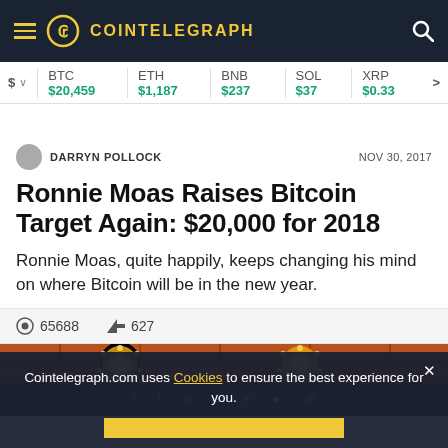COINTELEGRAPH
$ BTC $20,459 ETH $1,187 BNB $237 SOL $37 XRP $0.33
DARRYN POLLOCK  NOV 30, 2017
Ronnie Moas Raises Bitcoin Target Again: $20,000 for 2018
Ronnie Moas, quite happily, keeps changing his mind on where Bitcoin will be in the new year.
65688  627
[Figure (photo): Article header image showing Bitcoin-themed decorative elements with glowing gold circles on a brick/orange background, with social share buttons overlay]
Cointelegraph.com uses Cookies to ensure the best experience for you.